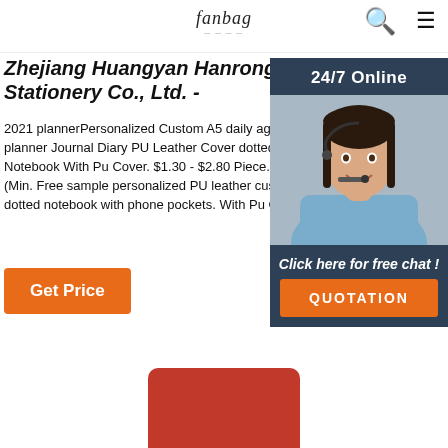fanbag [logo] [search icon] [menu icon]
Zhejiang Huangyan Hanrong Stationery Co., Ltd. -
2021 plannerPersonalized Custom A5 daily agenda Pocket planner Journal Diary PU Leather Cover dotted dot grid Notebook With Pu Cover. $1.30 - $2.80 Piece. 2000 Pieces (Min. Free sample personalized PU leather customized a5 dotted notebook with phone pockets. With Pu Cover. Piece.
[Figure (photo): Chat widget with woman wearing headset and '24/7 Online' label, 'Click here for free chat!' text, and QUOTATION button]
[Figure (photo): Red notebook product photo, partially visible at bottom of page]